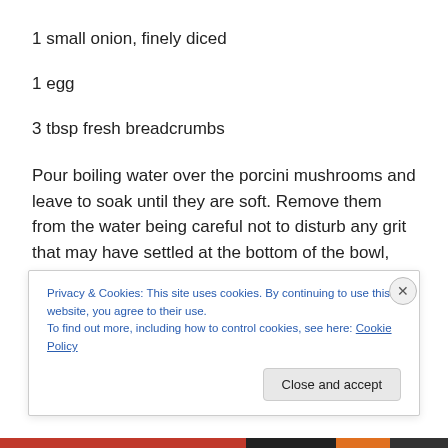1 small onion, finely diced
1 egg
3 tbsp fresh breadcrumbs
Pour boiling water over the porcini mushrooms and leave to soak until they are soft. Remove them from the water being careful not to disturb any grit that may have settled at the bottom of the bowl, and chop finely.
Put a knob of butter in a frying pan and fry the onion until
Privacy & Cookies: This site uses cookies. By continuing to use this website, you agree to their use.
To find out more, including how to control cookies, see here: Cookie Policy